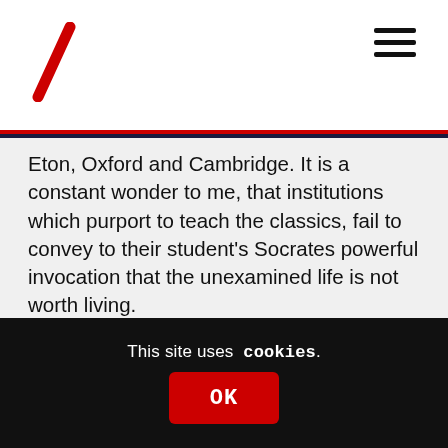Eton, Oxford and Cambridge. It is a constant wonder to me, that institutions which purport to teach the classics, fail to convey to their student's Socrates powerful invocation that the unexamined life is not worth living.
Like you, I accept we all have this capacity to be indifferent to the consequences of our actions. Our petty lusts and larcenies accumulate in our souls as the years pass. For the average person, it can lead us down dark paths as we age, depending on how well we develop the skill of self reflection. But the average person has little ability to harm more
This site uses cookies.
OK